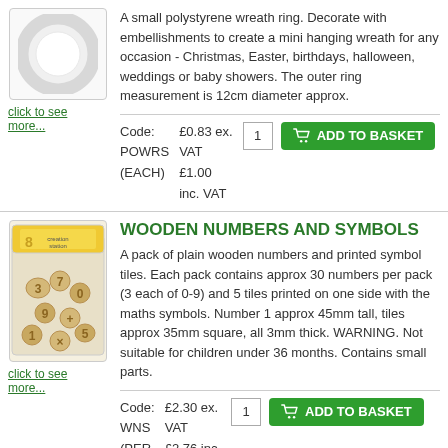[Figure (photo): White polystyrene wreath ring on a light background]
click to see more...
A small polystyrene wreath ring. Decorate with embellishments to create a mini hanging wreath for any occasion - Christmas, Easter, birthdays, halloween, weddings or baby showers. The outer ring measurement is 12cm diameter approx.
Code: POWRS (EACH)   £0.83 ex. VAT   £1.00 inc. VAT   [1] ADD TO BASKET
[Figure (photo): Pack of wooden numbers and symbol tiles in a plastic bag with yellow header card]
click to see more...
WOODEN NUMBERS AND SYMBOLS
A pack of plain wooden numbers and printed symbol tiles. Each pack contains approx 30 numbers per pack (3 each of 0-9) and 5 tiles printed on one side with the maths symbols. Number 1 approx 45mm tall, tiles approx 35mm square, all 3mm thick. WARNING. Not suitable for children under 36 months. Contains small parts.
Code: WNS (PER   £2.30 ex. VAT   £2.76 inc.   [1] ADD TO BASKET